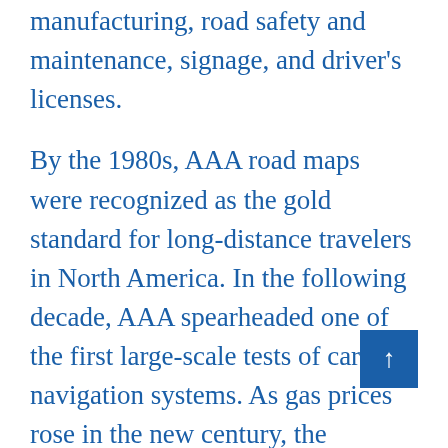manufacturing, road safety and maintenance, signage, and driver's licenses.
By the 1980s, AAA road maps were recognized as the gold standard for long-distance travelers in North America. In the following decade, AAA spearheaded one of the first large-scale tests of car navigation systems. As gas prices rose in the new century, the organization turned to lobby again, this time to advocate against the reduction or elimination of the federal gas tax, which provides essential funding for road and bridge infrastructure in the US.